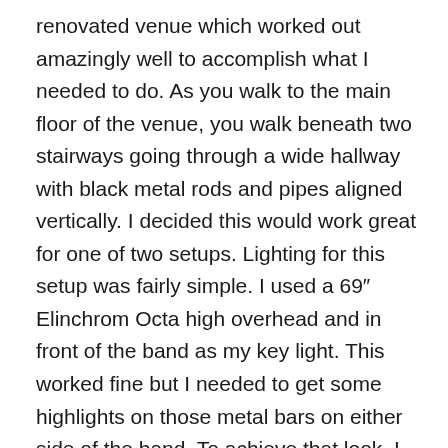renovated venue which worked out amazingly well to accomplish what I needed to do. As you walk to the main floor of the venue, you walk beneath two stairways going through a wide hallway with black metal rods and pipes aligned vertically. I decided this would work great for one of two setups. Lighting for this setup was fairly simple. I used a 69″ Elinchrom Octa high overhead and in front of the band as my key light. This worked fine but I needed to get some highlights on those metal bars on either side of the band. To achieve that look, I had two Elinchrom Ranger Quadras (one on each side) placed behind and to the side of the band on the opposite sides of the bars set at the lowest power. Now I had a nice looking photo of the band from these three lights but the photo was still not exactly what I wanted due to the stage lights directly behind the band. The crew was getting everything ready